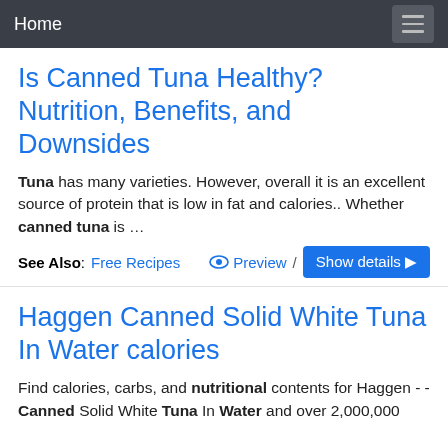Home
Is Canned Tuna Healthy? Nutrition, Benefits, and Downsides
Tuna has many varieties. However, overall it is an excellent source of protein that is low in fat and calories.. Whether canned tuna is …
See Also: Free Recipes   Preview / Show details
Haggen Canned Solid White Tuna In Water calories
Find calories, carbs, and nutritional contents for Haggen - - Canned Solid White Tuna In Water and over 2,000,000